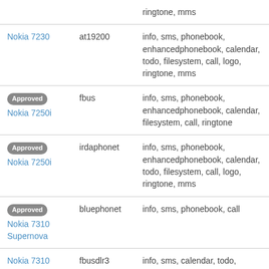| Device | Connection | Features |
| --- | --- | --- |
|  |  | ringtone, mms |
| Nokia 7230 | at19200 | info, sms, phonebook, enhancedphonebook, calendar, todo, filesystem, call, logo, ringtone, mms |
| Approved
Nokia 7250i | fbus | info, sms, phonebook, enhancedphonebook, calendar, filesystem, call, ringtone |
| Approved
Nokia 7250i | irdaphonet | info, sms, phonebook, enhancedphonebook, calendar, todo, filesystem, call, logo, ringtone, mms |
| Approved
Nokia 7310 Supernova | bluephonet | info, sms, phonebook, call |
| Nokia 7310 Supernova | fbusdlr3 | info, sms, calendar, todo, filesystem, call, logo, mms |
| Approved | bluephonet | info, sms, phonebook, |